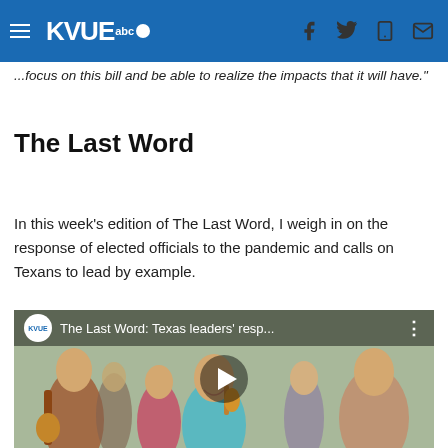KVUE abc
...focus on this bill and be able to realize the impacts that it will have."
The Last Word
In this week's edition of The Last Word, I weigh in on the response of elected officials to the pandemic and calls on Texans to lead by example.
[Figure (screenshot): KVUE YouTube video thumbnail showing 'The Last Word: Texas leaders' resp...' with a man playing violin smiling, surrounded by people at an outdoor event. A play button is overlaid in the center.]